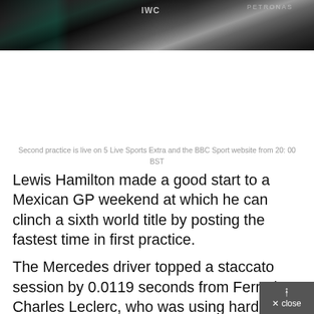[Figure (photo): Close-up of a Formula 1 Mercedes car showing dark bodywork with IWC and Petronas sponsorship logos]
Second practice is live on 5 Live Sports Extra and the BBC Sport website from 20: 00 BST
Lewis Hamilton made a good start to a Mexican GP weekend at which he can clinch a sixth world title by posting the fastest time in first practice.
The Mercedes driver topped a staccato session by 0.0119 seconds from Ferrari's Charles Leclerc, who was using harder, slower tires.